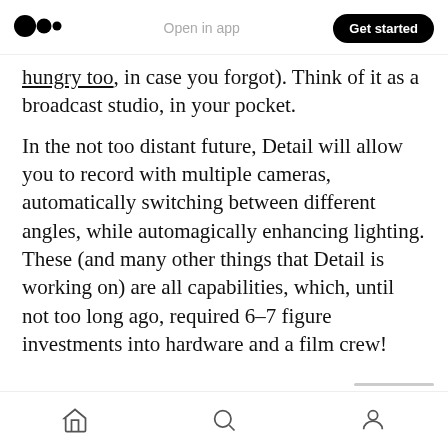Open in app   Get started
hungry too, in case you forgot). Think of it as a broadcast studio, in your pocket.
In the not too distant future, Detail will allow you to record with multiple cameras, automatically switching between different angles, while automagically enhancing lighting. These (and many other things that Detail is working on) are all capabilities, which, until not too long ago, required 6–7 figure investments into hardware and a film crew!
Home  Search  Profile